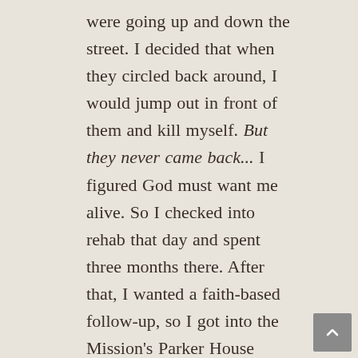were going up and down the street. I decided that when they circled back around, I would jump out in front of them and kill myself. But they never came back... I figured God must want me alive. So I checked into rehab that day and spent three months there. After that, I wanted a faith-based follow-up, so I got into the Mission's Parker House Aftercare program. I haven't stopped smiling since I've been here. I feel better than ever. I'm getting the spiritual nourishment I've needed. I have